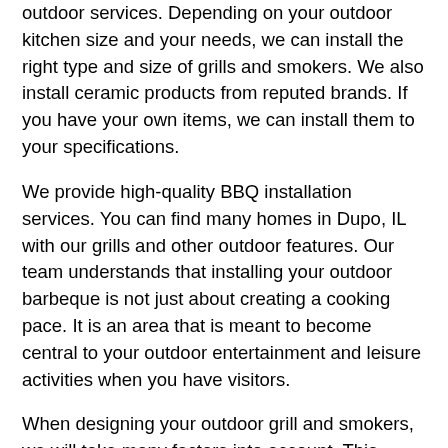outdoor services. Depending on your outdoor kitchen size and your needs, we can install the right type and size of grills and smokers. We also install ceramic products from reputed brands. If you have your own items, we can install them to your specifications.
We provide high-quality BBQ installation services. You can find many homes in Dupo, IL with our grills and other outdoor features. Our team understands that installing your outdoor barbeque is not just about creating a cooking pace. It is an area that is meant to become central to your outdoor entertainment and leisure activities when you have visitors.
When designing your outdoor grill and smokers, we will take many factors into account. This includes:
Design & layout of the BBQ grill installations
Available space for the feature
Outdoor kitchen planning